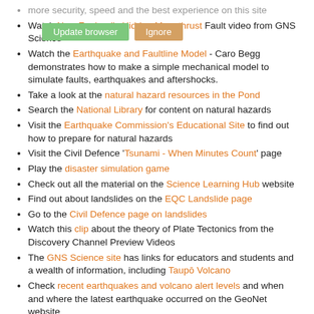more security, speed and the best experience on this site
Watch New Zealand's Hidden Megathrust Fault video from GNS Science
Watch the Earthquake and Faultline Model - Caro Begg demonstrates how to make a simple mechanical model to simulate faults, earthquakes and aftershocks.
Take a look at the natural hazard resources in the Pond
Search the National Library for content on natural hazards
Visit the Earthquake Commission's Educational Site to find out how to prepare for natural hazards
Visit the Civil Defence 'Tsunami - When Minutes Count' page
Play the disaster simulation game
Check out all the material on the Science Learning Hub website
Find out about landslides on the EQC Landslide page
Go to the Civil Defence page on landslides
Watch this clip about the theory of Plate Tectonics from the Discovery Channel Preview Videos
The GNS Science site has links for educators and students and a wealth of information, including Taupō Volcano
Check recent earthquakes and volcano alert levels and when and where the latest earthquake occurred on the GeoNet website
Read The Power of Taupō on NZ Geo
Try the 'Beat the Quake' interactive game
Take a look at the Civil Defence site "What's the Plan Stan" to see if you are ready to survive an earthquake
Check out the learning resources and interactive game "Awesome Forces" on the Te Papa website
Go to the Earth Learning Ideas website for the latest earthquake, volcano, tsunami and landslide activities
PDF documents: To view or print out PDF documents you will need the Adobe Acrobat (PDF) Reader. This is available free from the Adobe